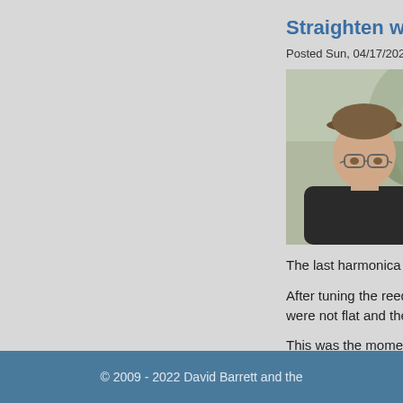Straighten warpe
Posted Sun, 04/17/2022 -
[Figure (photo): Head and shoulders photo of a man wearing a cap and glasses outdoors]
The last harmonica I boug
After tuning the reeds sev were not flat and their fron
This was the moment I ga easy way to straighten co ? continue reading...
10 comments
© 2009 - 2022 David Barrett and the